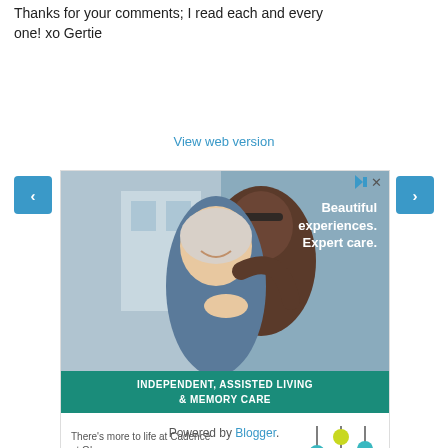Thanks for your comments; I read each and every one! xo Gertie
[Figure (screenshot): Navigation row with left arrow button, Home center button, right arrow button, and View web version link]
[Figure (photo): Advertisement for Cadence Living at Olney — senior couple smiling, overlay text: Beautiful experiences. Expert care. Green band: INDEPENDENT, ASSISTED LIVING & MEMORY CARE. Bottom: There's more to life at Cadence at Olney. REQUEST INFO button. Cadence Living Olney logo.]
Powered by Blogger.